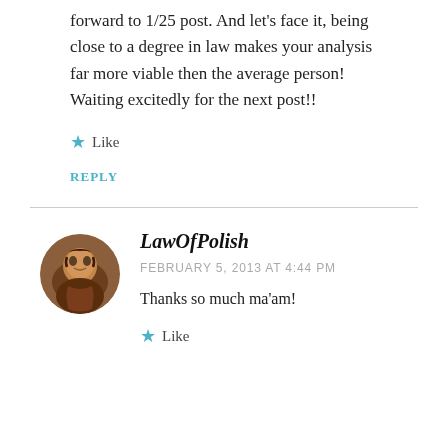forward to 1/25 post. And let's face it, being close to a degree in law makes your analysis far more viable then the average person! Waiting excitedly for the next post!!
Like
REPLY
LawOfPolish
FEBRUARY 5, 2013 AT 4:44 PM
Thanks so much ma'am!
Like